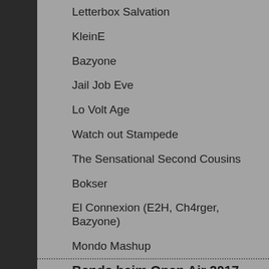Letterbox Salvation
KleinE
Bazyone
Jail Job Eve
Lo Volt Age
Watch out Stampede
The Sensational Second Cousins
Bokser
El Connexion (E2H, Ch4rger, Bazyone)
Mondo Mashup
Bands beim Open Air 2017
Acoustic Steel